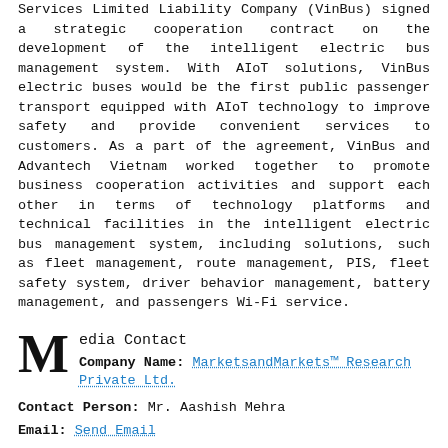Services Limited Liability Company (VinBus) signed a strategic cooperation contract on the development of the intelligent electric bus management system. With AIoT solutions, VinBus electric buses would be the first public passenger transport equipped with AIoT technology to improve safety and provide convenient services to customers. As a part of the agreement, VinBus and Advantech Vietnam worked together to promote business cooperation activities and support each other in terms of technology platforms and technical facilities in the intelligent electric bus management system, including solutions, such as fleet management, route management, PIS, fleet safety system, driver behavior management, battery management, and passengers Wi-Fi service.
Media Contact
Company Name: MarketsandMarkets™ Research Private Ltd.
Contact Person: Mr. Aashish Mehra
Email: Send Email
Phone: 18886006441
Address: 630 Dundee Road Suite 430